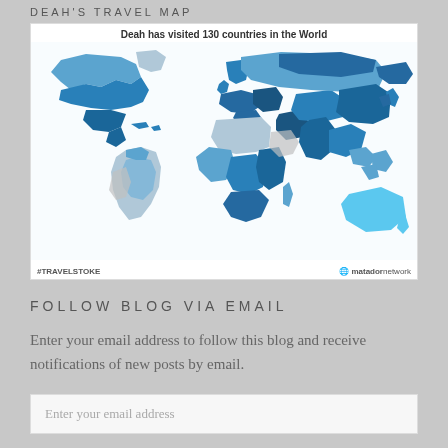DEAH'S TRAVEL MAP
[Figure (map): World travel map showing countries Deah has visited (130 countries), with visited countries highlighted in various shades of blue. Title: 'Deah has visited 130 countries in the World'. Bottom left: #TRAVELSTOKE, Bottom right: matador network logo.]
FOLLOW BLOG VIA EMAIL
Enter your email address to follow this blog and receive notifications of new posts by email.
Enter your email address